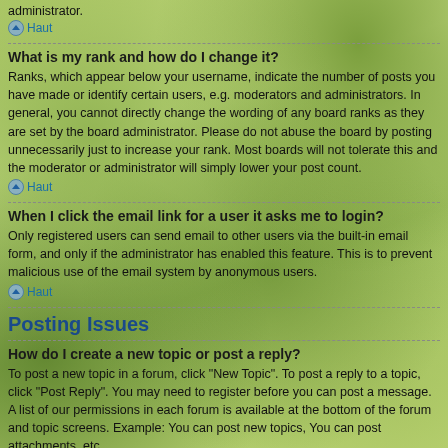administrator.
Haut
What is my rank and how do I change it?
Ranks, which appear below your username, indicate the number of posts you have made or identify certain users, e.g. moderators and administrators. In general, you cannot directly change the wording of any board ranks as they are set by the board administrator. Please do not abuse the board by posting unnecessarily just to increase your rank. Most boards will not tolerate this and the moderator or administrator will simply lower your post count.
Haut
When I click the email link for a user it asks me to login?
Only registered users can send email to other users via the built-in email form, and only if the administrator has enabled this feature. This is to prevent malicious use of the email system by anonymous users.
Haut
Posting Issues
How do I create a new topic or post a reply?
To post a new topic in a forum, click "New Topic". To post a reply to a topic, click "Post Reply". You may need to register before you can post a message. A list of our permissions in each forum is available at the bottom of the forum and topic screens. Example: You can post new topics, You can post attachments, etc.
Haut